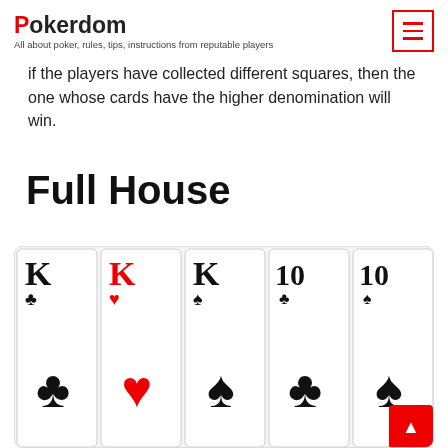Pokerdom — All about poker, rules, tips, instructions from reputable players
If the players have collected different squares, then the one whose cards have the higher denomination will win.
Full House
[Figure (illustration): Five playing cards showing a Full House hand: King of Clubs, King of Hearts, King of Spades, 10 of Clubs, 10 of Spades]